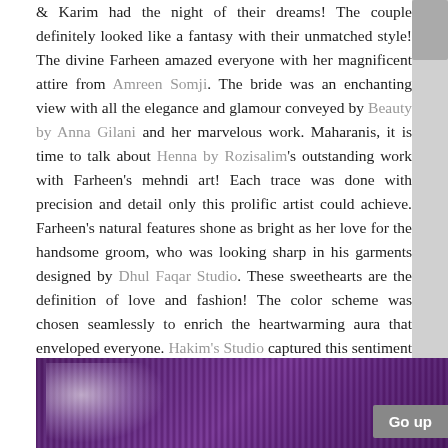& Karim had the night of their dreams! The couple definitely looked like a fantasy with their unmatched style! The divine Farheen amazed everyone with her magnificent attire from Amreen Somji. The bride was an enchanting view with all the elegance and glamour conveyed by Beauty by Anna Gilani and her marvelous work. Maharanis, it is time to talk about Henna by Rozisalim's outstanding work with Farheen's mehndi art! Each trace was done with precision and detail only this prolific artist could achieve. Farheen's natural features shone as bright as her love for the handsome groom, who was looking sharp in his garments designed by Dhul Faqar Studio. These sweethearts are the definition of love and fashion! The color scheme was chosen seamlessly to enrich the heartwarming aura that enveloped everyone. Hakim's Studio captured this sentiment with his magnificent skills in a fabulous piece of art that you can find in the film below. Just click on the play button and enjoy, Maharanis!
[Figure (photo): A purple-toned wedding decoration image showing curtains or draping fabric with floral elements, partially visible at the bottom of the page. A 'Go up' button appears in the bottom right corner.]